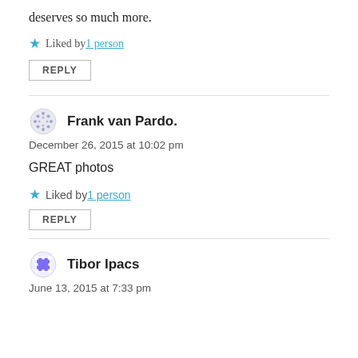deserves so much more.
Liked by 1 person
REPLY
Frank van Pardo.
December 26, 2015 at 10:02 pm
GREAT photos
Liked by 1 person
REPLY
Tibor Ipacs
June 13, 2015 at 7:33 pm